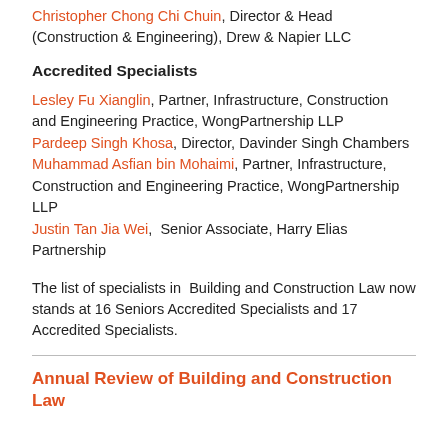Christopher Chong Chi Chuin, Director & Head (Construction & Engineering), Drew & Napier LLC
Accredited Specialists
Lesley Fu Xianglin, Partner, Infrastructure, Construction and Engineering Practice, WongPartnership LLP
Pardeep Singh Khosa, Director, Davinder Singh Chambers
Muhammad Asfian bin Mohaimi, Partner, Infrastructure, Construction and Engineering Practice, WongPartnership LLP
Justin Tan Jia Wei, Senior Associate, Harry Elias Partnership
The list of specialists in Building and Construction Law now stands at 16 Seniors Accredited Specialists and 17 Accredited Specialists.
Annual Review of Building and Construction Law